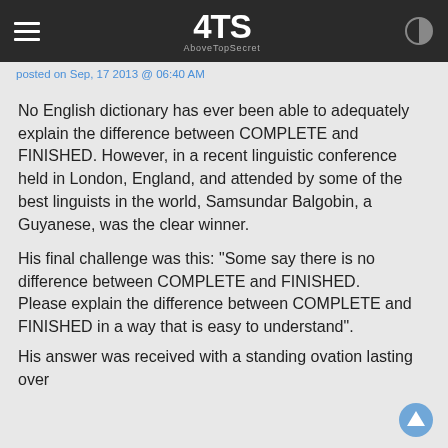ATS AboveTopSecret
posted on Sep, 17 2013 @ 06:40 AM
No English dictionary has ever been able to adequately explain the difference between COMPLETE and FINISHED. However, in a recent linguistic conference held in London, England, and attended by some of the best linguists in the world, Samsundar Balgobin, a Guyanese, was the clear winner.
His final challenge was this: "Some say there is no difference between COMPLETE and FINISHED. Please explain the difference between COMPLETE and FINISHED in a way that is easy to understand".
Here is his astute answer: "When you marry the right woman, you are COMPLETE. But, when you marry the wrong woman, you are FINISHED. And when the right one catches you with the wrong one, you are COMPLETELY FINISHED!"
His answer was received with a standing ovation lasting over